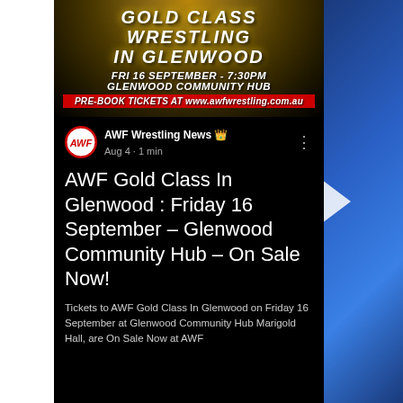[Figure (infographic): AWF Gold Class Wrestling in Glenwood promotional banner with gold glitter background, event details: FRI 16 SEPTEMBER - 7:30PM, GLENWOOD COMMUNITY HUB, PRE-BOOK TICKETS AT www.awfwrestling.com.au]
AWF Wrestling News Admin
Aug 4 · 1 min
AWF Gold Class In Glenwood : Friday 16 September - Glenwood Community Hub - On Sale Now!
Tickets to AWF Gold Class In Glenwood on Friday 16 September at Glenwood Community Hub Marigold Hall, are On Sale Now at AWF